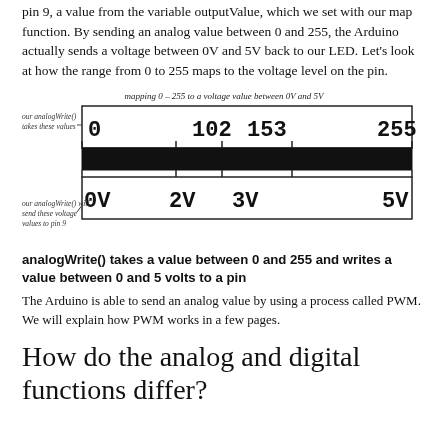pin 9, a value from the variable outputValue, which we set with our map function. By sending an analog value between 0 and 255, the Arduino actually sends a voltage between 0V and 5V back to our LED. Let's look at how the range from 0 to 255 maps to the voltage level on the pin.
[Figure (infographic): Diagram showing mapping of 0-255 analog values to voltage values 0V-5V. Top bar shows values 0, 102, 153, 255 with label 'our analogWrite() takes these values'. Bottom bar shows 0V, 2V, 3V, 5V with label 'our analogWrite() will send these voltage values to pin 9'. Title: mapping 0-255 to a voltage value between 0V and 5V.]
analogWrite() takes a value between 0 and 255 and writes a value between 0 and 5 volts to a pin
The Arduino is able to send an analog value by using a process called PWM. We will explain how PWM works in a few pages.
How do the analog and digital functions differ?